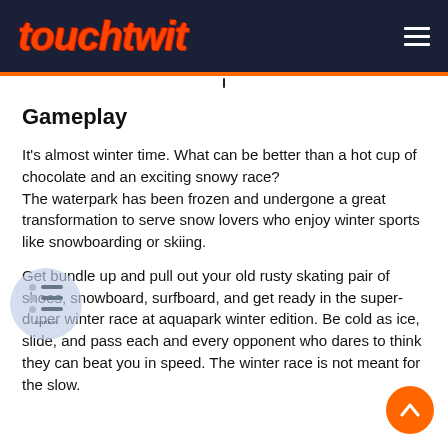touchtwit
Gameplay
It's almost winter time. What can be better than a hot cup of chocolate and an exciting snowy race?
The waterpark has been frozen and undergone a great transformation to serve snow lovers who enjoy winter sports like snowboarding or skiing.
Get bundle up and pull out your old rusty skating pair of shoes, snowboard, surfboard, and get ready in the super-duper winter race at aquapark winter edition. Be cold as ice, slide, and pass each and every opponent who dares to think they can beat you in speed. The winter race is not meant for the slow.